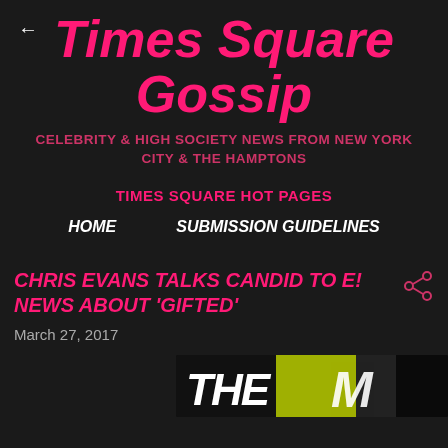←
Times Square Gossip
CELEBRITY & HIGH SOCIETY NEWS FROM NEW YORK CITY & THE HAMPTONS
TIMES SQUARE HOT PAGES
HOME
SUBMISSION GUIDELINES
CHRIS EVANS TALKS CANDID TO E! NEWS ABOUT 'GIFTED'
March 27, 2017
[Figure (photo): Partial image showing 'THE M' text, likely an MTV logo or similar, on a dark and yellow/green background]